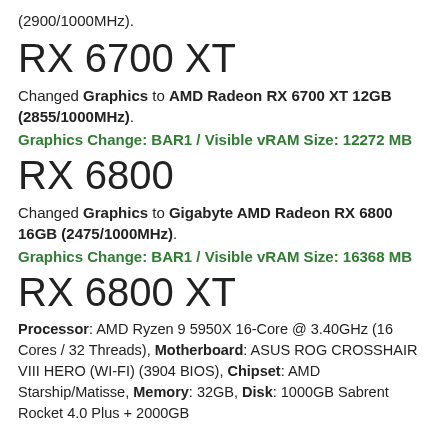(2900/1000MHz).
RX 6700 XT
Changed Graphics to AMD Radeon RX 6700 XT 12GB (2855/1000MHz).
Graphics Change: BAR1 / Visible vRAM Size: 12272 MB
RX 6800
Changed Graphics to Gigabyte AMD Radeon RX 6800 16GB (2475/1000MHz).
Graphics Change: BAR1 / Visible vRAM Size: 16368 MB
RX 6800 XT
Processor: AMD Ryzen 9 5950X 16-Core @ 3.40GHz (16 Cores / 32 Threads), Motherboard: ASUS ROG CROSSHAIR VIII HERO (WI-FI) (3904 BIOS), Chipset: AMD Starship/Matisse, Memory: 32GB, Disk: 1000GB Sabrent Rocket 4.0 Plus + 2000GB